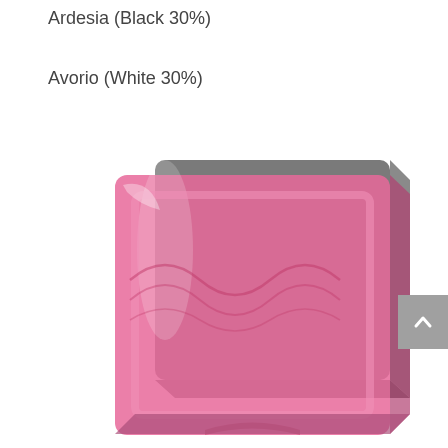Ardesia (Black 30%)
Avorio (White 30%)
[Figure (photo): A pink/rose colored glass block with wavy texture and a dark grey matte back panel, shown in a 3D perspective view against a white background.]